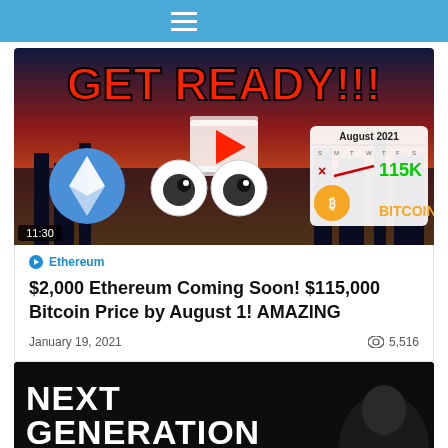Navigation menu
[Figure (screenshot): Video thumbnail showing 'GET READY!!!' text in red on a city skyline background with Ethereum logo, cartoon eyes, and August 2021 calendar showing 115K Bitcoin price, with duration 11:30]
Ethereum
$2,000 Ethereum Coming Soon! $115,000 Bitcoin Price by August 1! AMAZING
January 19, 2021
5,516
[Figure (screenshot): Partial video thumbnail with 'NEXT GENERATION' text in white on dark background]